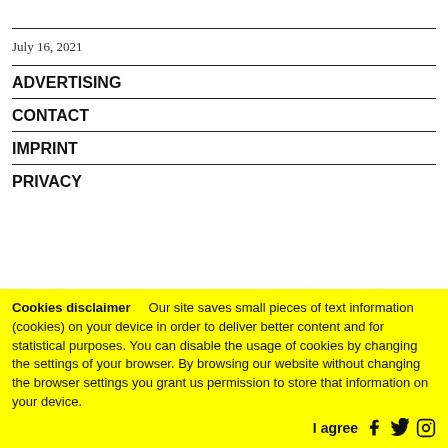July 16, 2021
ADVERTISING
CONTACT
IMPRINT
PRIVACY
Cookies disclaimer — Our site saves small pieces of text information (cookies) on your device in order to deliver better content and for statistical purposes. You can disable the usage of cookies by changing the settings of your browser. By browsing our website without changing the browser settings you grant us permission to store that information on your device.